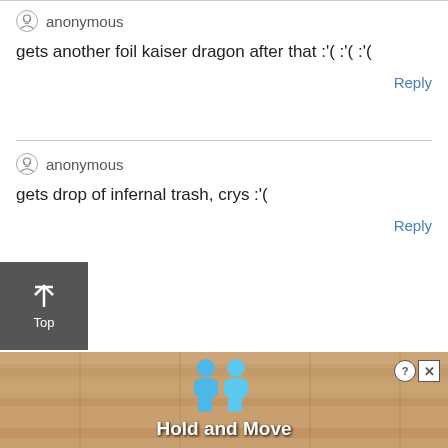anonymous
gets another foil kaiser dragon after that :'( :'( :'(
Reply
anonymous
gets drop of infernal trash, crys :'(
Reply
[Figure (screenshot): Back to Top button (dark grey square with upward arrow and 'Top' label)]
[Figure (screenshot): Advertisement banner showing 'Hold and Move' game with cartoon blue figures on a wooden background, with close and info icons]